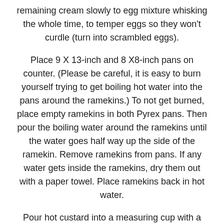remaining cream slowly to egg mixture whisking the whole time, to temper eggs so they won't curdle (turn into scrambled eggs).
Place 9 X 13-inch and 8 X8-inch pans on counter. (Please be careful, it is easy to burn yourself trying to get boiling hot water into the pans around the ramekins.) To not get burned, place empty ramekins in both Pyrex pans. Then pour the boiling water around the ramekins until the water goes half way up the side of the ramekin. Remove ramekins from pans. If any water gets inside the ramekins, dry them out with a paper towel. Place ramekins back in hot water.
Pour hot custard into a measuring cup with a spout. Divide custard evenly between 8 ramekins. Bake 300ºF for 40- 50 minutes. Remove pans from oven. To keep the creamy